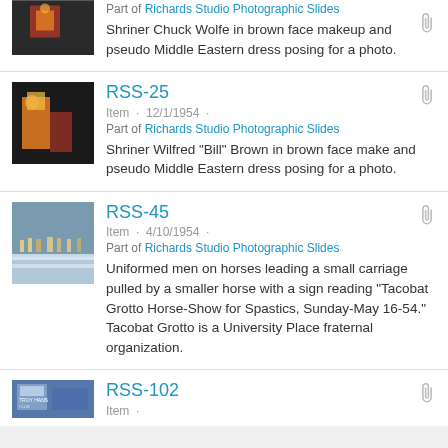RSS-25 | Item · 12/1/1954 · | Part of Richards Studio Photographic Slides | Shriner Wilfred "Bill" Brown in brown face make and pseudo Middle Eastern dress posing for a photo.
RSS-45 | Item · 4/10/1954 · | Part of Richards Studio Photographic Slides | Uniformed men on horses leading a small carriage pulled by a smaller horse with a sign reading "Tacobat Grotto Horse-Show for Spastics, Sunday-May 16-54." Tacobat Grotto is a University Place fraternal organization.
RSS-102 | Item ·